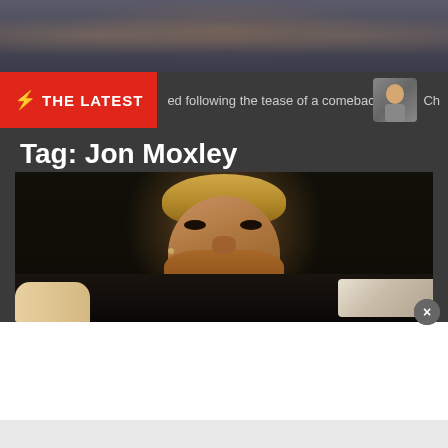[Figure (photo): Top banner showing a crowd of wrestling fans in an arena setting]
THE LATEST  ed following the tease of a comeback  Ch
Tag: Jon Moxley
[Figure (photo): Close-up photo of Jon Moxley (wrestler) with a beard and reddish hair, looking upward intensely, wearing a black shirt and holding a championship belt]